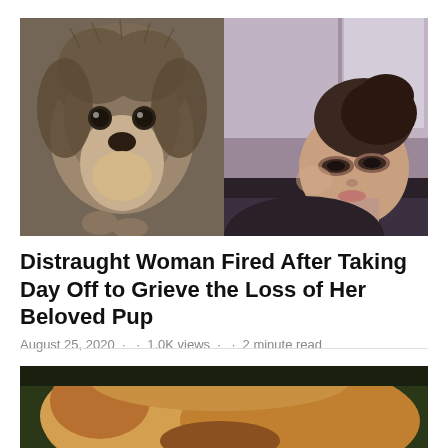[Figure (photo): Side-by-side photos: left shows a fluffy Yorkshire Terrier dog looking at camera; right shows a young woman with dark eye makeup lying on a couch]
Distraught Woman Fired After Taking Day Off to Grieve the Loss of Her Beloved Pup
August 25, 2020 · · 1.0K views · · 2 minute read
[Figure (photo): Partial photo of a dog, cropped at bottom of page]